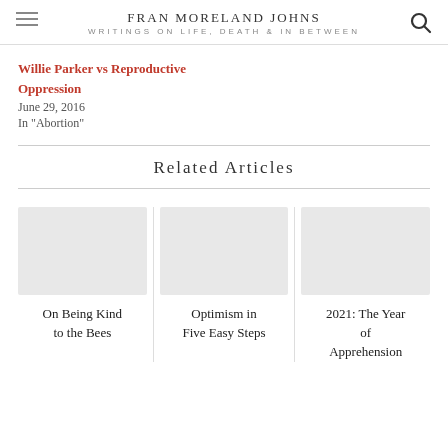FRAN MORELAND JOHNS
WRITINGS ON LIFE, DEATH & IN BETWEEN
Willie Parker vs Reproductive Oppression
June 29, 2016
In "Abortion"
Related Articles
On Being Kind to the Bees
Optimism in Five Easy Steps
2021: The Year of Apprehension